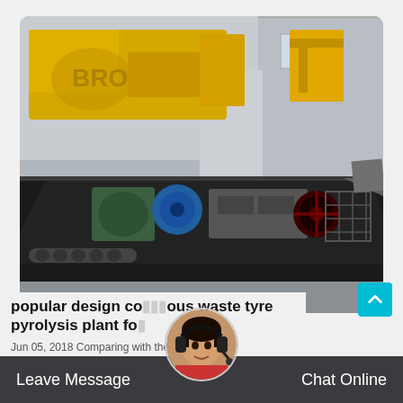[Figure (photo): Industrial machinery photograph showing a large dark conveyor/processing machine with green and blue electric motors, a red-wheeled component, and yellow heavy equipment in the background, taken outside an industrial building with grey walls.]
popular design continuous waste tyre pyrolysis plant fo...
Jun 05, 2018 Comparing with the batching
Leave Message
Chat Online